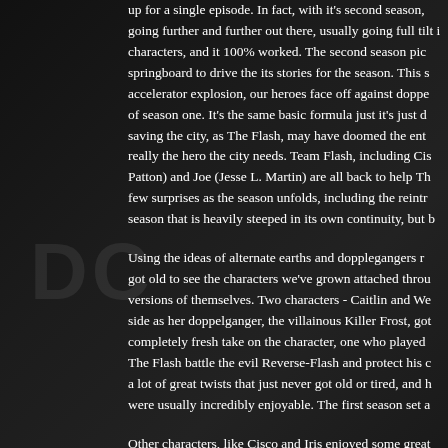up for a single episode. In fact, with it's second season, going further and further out there, usually going full tilt i characters, and it 100% worked. The second season pic springboard to drive the its stories for the season. This s accelerator explosion, our heroes face off against doppe of season one. It's the same basic formula just it's just d saving the city, as The Flash, may have doomed the ent really the hero the city needs. Team Flash, including Cis Patton) and Joe (Jesse L. Martin) are all back to help Th few surprises as the season unfolds, including the reintr season that is heavily steeped in its own continuity, but b
Using the ideas of alternate earths and dopplegangers r got old to see the characters we've grown attached throu versions of themselves. Two characters - Caitlin and We side as her doppelganger, the villainous Killer Frost, got completely fresh take on the character, one who played The Flash battle the evil Reverse-Flash and protect his c a lot of great twists that just never got old or tired, and h were usually incredibly enjoyable. The first season set a
Other characters, like Cisco and Iris enjoyed some great Team Flash and his burgeoning powers. Iris' work as a je some interesting family drama that put her and her famil busy season, it felt like no character was really given the Earth 2/doppleganger plot lines sinning throughout the